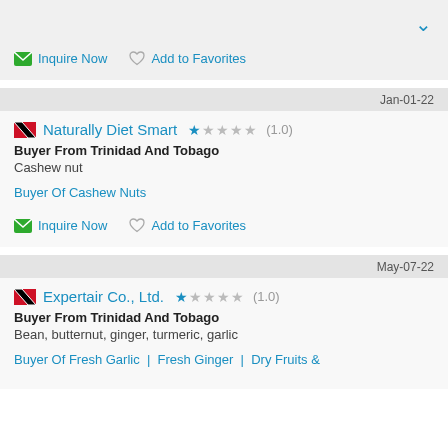[Figure (screenshot): Top partial card with Inquire Now and Add to Favorites actions, and a blue chevron down arrow in top right]
Jan-01-22
Naturally Diet Smart ★☆☆☆☆ (1.0)
Buyer From Trinidad And Tobago
Cashew nut
Buyer Of Cashew Nuts
Inquire Now   Add to Favorites
May-07-22
Expertair Co., Ltd. ★☆☆☆☆ (1.0)
Buyer From Trinidad And Tobago
Bean, butternut, ginger, turmeric, garlic
Buyer Of Fresh Garlic | Fresh Ginger | Dry Fruits &